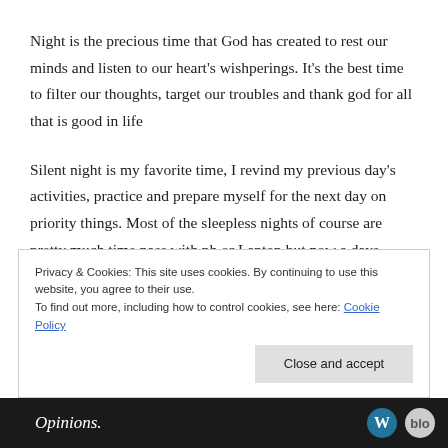Night is the precious time that God has created to rest our minds and listen to our heart's wishperings. It's the best time to filter our thoughts, target our troubles and thank god for all that is good in life
Silent night is my favorite time, I revind my previous day's activities, practice and prepare myself for the next day on priority things. Most of the sleepless nights of course are pretty much time pass with ph or Laptop but now a days WordPress is my world of night tour. I
Privacy & Cookies: This site uses cookies. By continuing to use this website, you agree to their use. To find out more, including how to control cookies, see here: Cookie Policy
Close and accept
Opinions.